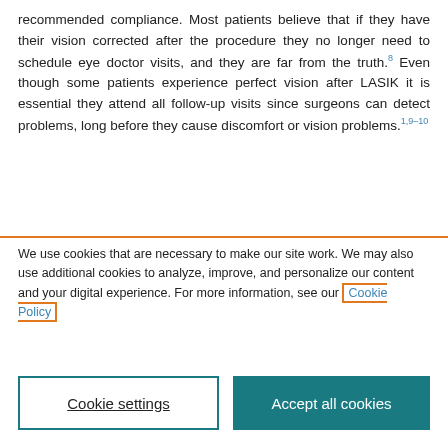recommended compliance. Most patients believe that if they have their vision corrected after the procedure they no longer need to schedule eye doctor visits, and they are far from the truth.⁸ Even though some patients experience perfect vision after LASIK it is essential they attend all follow-up visits since surgeons can detect problems, long before they cause discomfort or vision problems.¹·⁹⁻¹⁰
We use cookies that are necessary to make our site work. We may also use additional cookies to analyze, improve, and personalize our content and your digital experience. For more information, see our Cookie Policy
Cookie settings
Accept all cookies